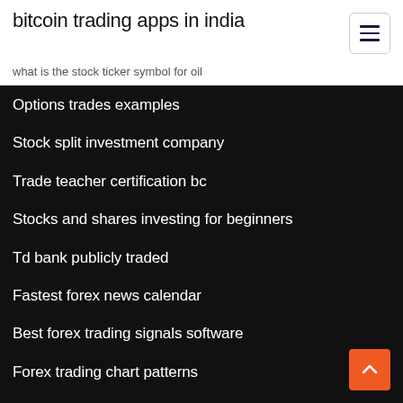bitcoin trading apps in india
what is the stock ticker symbol for oil
Options trades examples
Stock split investment company
Trade teacher certification bc
Stocks and shares investing for beginners
Td bank publicly traded
Fastest forex news calendar
Best forex trading signals software
Forex trading chart patterns
Why bitcoin price rising today
Path of diablo trading site